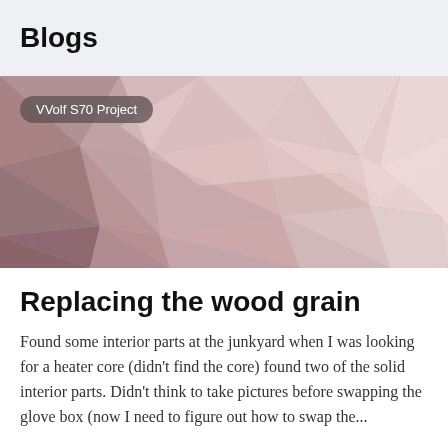Blogs
[Figure (illustration): Low-poly geometric abstract background in muted mauve and pink tones with a category badge reading 'VVolf S70 Project']
Replacing the wood grain
Found some interior parts at the junkyard when I was looking for a heater core (didn't find the core) found two of the solid interior parts. Didn't think to take pictures before swapping the glove box (now I need to figure out how to swap the...